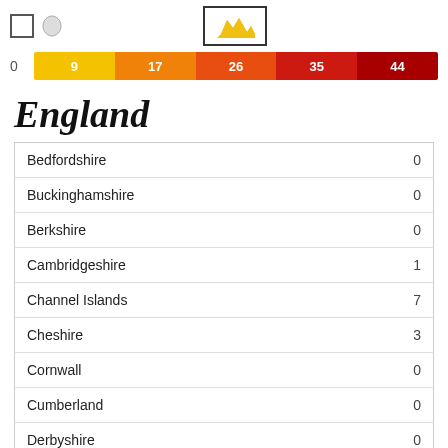[Figure (infographic): Top bar with checkbox icon on left and map icon in center box]
[Figure (bar-chart): Legend color scale]
England
| County | Value |
| --- | --- |
| Bedfordshire | 0 |
| Buckinghamshire | 0 |
| Berkshire | 0 |
| Cambridgeshire | 1 |
| Channel Islands | 7 |
| Cheshire | 3 |
| Cornwall | 0 |
| Cumberland | 0 |
| Derbyshire | 0 |